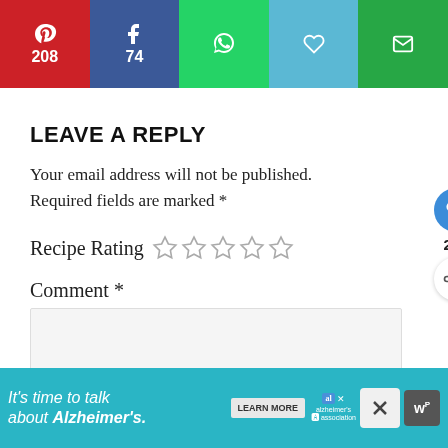[Figure (screenshot): Social sharing bar with Pinterest (208 saves), Facebook (74 shares), WhatsApp share, Save/bookmark, and Email buttons]
LEAVE A REPLY
Your email address will not be published. Required fields are marked *
Recipe Rating (5 empty stars)
Comment *
[Figure (screenshot): Comment text area input box (empty, gray background)]
[Figure (screenshot): Floating side action buttons: heart/like button (blue circle), count 290, share button (white circle)]
[Figure (screenshot): What's Next widget showing: 'WHAT'S NEXT → Grilled Salmon Collar with...' with a thumbnail image]
[Figure (screenshot): Advertisement banner: 'It's time to talk about Alzheimer's.' with LEARN MORE button, Alzheimer's Association logo, close X button, and WP icon]